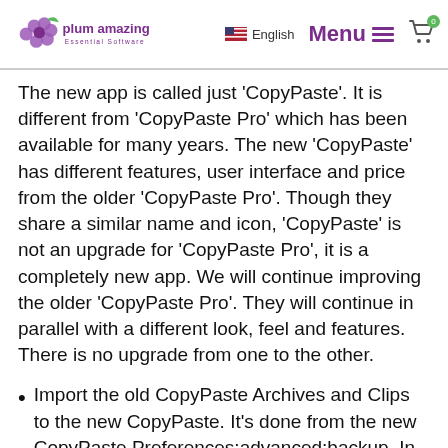plum amazing Essential Software | Menu | English
The new app is called just 'CopyPaste'. It is different from 'CopyPaste Pro' which has been available for many years. The new 'CopyPaste' has different features, user interface and price from the older 'CopyPaste Pro'. Though they share a similar name and icon, 'CopyPaste' is not an upgrade for 'CopyPaste Pro', it is a completely new app. We will continue improving the older 'CopyPaste Pro'. They will continue in parallel with a different look, feel and features. There is no upgrade from one to the other.
Import the old CopyPaste Archives and Clips to the new CopyPaste. It's done from the new CopyPaste Preferences:advanced:backup. In that pref, tap the 'Archives' button and the 'History' to import your data. Then you data from